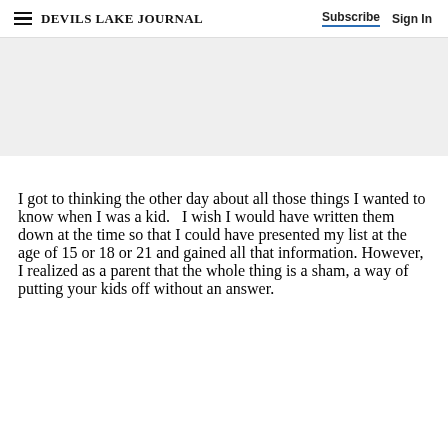DEVILS LAKE JOURNAL  Subscribe  Sign In
[Figure (other): Advertisement banner placeholder, light gray background]
I got to thinking the other day about all those things I wanted to know when I was a kid.   I wish I would have written them down at the time so that I could have presented my list at the age of 15 or 18 or 21 and gained all that information. However, I realized as a parent that the whole thing is a sham, a way of putting your kids off without an answer.